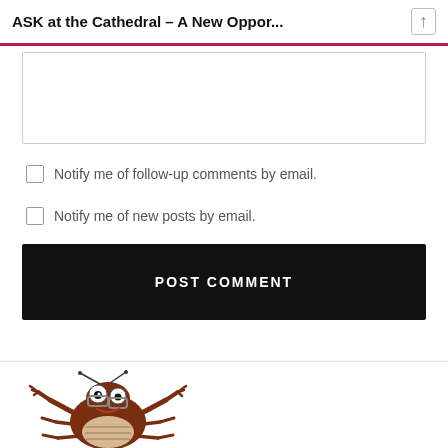ASK at the Cathedral – A New Oppor...
[Figure (screenshot): Empty textarea input box for comment entry]
Notify me of follow-up comments by email.
Notify me of new posts by email.
POST COMMENT
[Figure (illustration): Cartoon cockroach illustration with glasses and antennae, arms raised, showing belly]